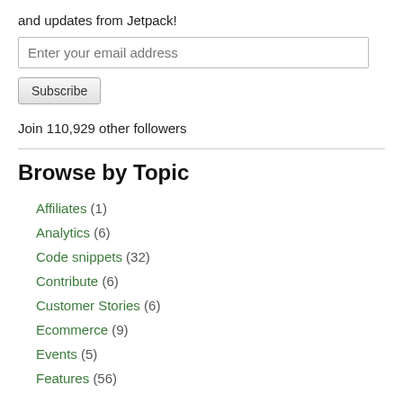and updates from Jetpack!
Enter your email address
Subscribe
Join 110,929 other followers
Browse by Topic
Affiliates (1)
Analytics (6)
Code snippets (32)
Contribute (6)
Customer Stories (6)
Ecommerce (9)
Events (5)
Features (56)